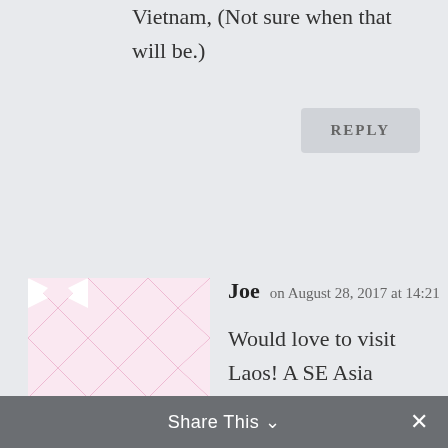Vietnam, (Not sure when that will be.)
REPLY
[Figure (illustration): Pink and white geometric pattern avatar for user Joe]
Joe on August 28, 2017 at 14:21
Would love to visit Laos! A SE Asia country not as hyped as its near neighbours, but definitely seems like it's worth a look, certainly before it becomes, as you say, increasingly Westernised as more people start coming to
Share This ∨  ✕